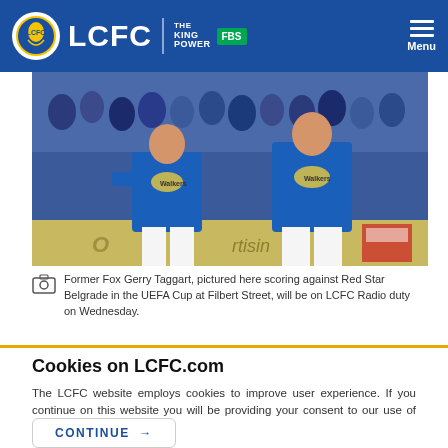LCFC | KING POWER FBS — Menu
[Figure (photo): Football players in blue Leicester City jerseys running during a match, with a crowd in the background. Historic photo from a UEFA Cup match at Filbert Street.]
Former Fox Gerry Taggart, pictured here scoring against Red Star Belgrade in the UEFA Cup at Filbert Street, will be on LCFC Radio duty on Wednesday.
Cookies on LCFC.com
The LCFC website employs cookies to improve user experience. If you continue on this website you will be providing your consent to our use of cookies. Find out more
CONTINUE →